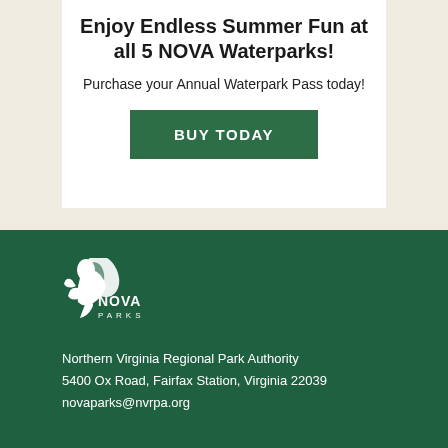Enjoy Endless Summer Fun at all 5 NOVA Waterparks!
Purchase your Annual Waterpark Pass today!
BUY TODAY
[Figure (logo): NOVA Parks logo — white eagle/bird silhouette with NOVA PARKS text in white on dark green background]
Northern Virginia Regional Park Authority
5400 Ox Road, Fairfax Station, Virginia 22039
novaparks@nvrpa.org